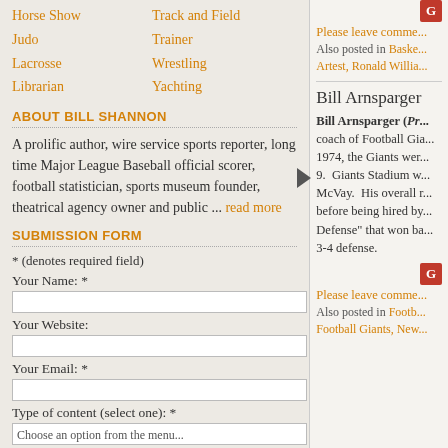Horse Show
Track and Field
Judo
Trainer
Lacrosse
Wrestling
Librarian
Yachting
ABOUT BILL SHANNON
A prolific author, wire service sports reporter, long time Major League Baseball official scorer, football statistician, sports museum founder, theatrical agency owner and public ... read more
SUBMISSION FORM
* (denotes required field)
Your Name: *
Your Website:
Your Email: *
Type of content (select one): *
Please leave comme...
Also posted in Baske... Artest, Ronald Willia...
Bill Arnsparger
Bill Arnsparger (Pr... coach of Football Gia... 1974, the Giants wer... 9. Giants Stadium w... McVay. His overall r... before being hired by... Defense" that won ba... 3-4 defense.
Please leave comme...
Also posted in Footb... Football Giants, New...